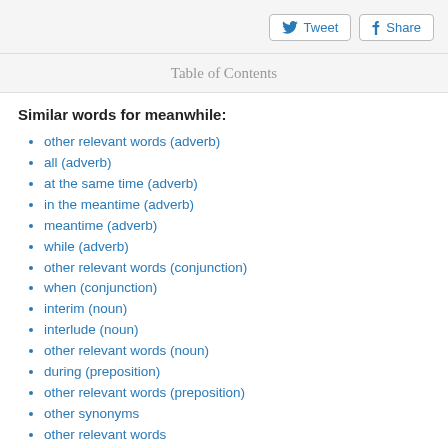Tweet  Share
Table of Contents
Similar words for meanwhile:
other relevant words (adverb)
all (adverb)
at the same time (adverb)
in the meantime (adverb)
meantime (adverb)
while (adverb)
other relevant words (conjunction)
when (conjunction)
interim (noun)
interlude (noun)
other relevant words (noun)
during (preposition)
other relevant words (preposition)
other synonyms
other relevant words
other relevant words (noun)